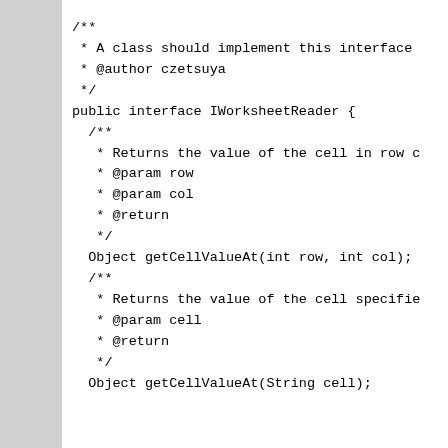/**
 * A class should implement this interface
 * @author czetsuya
 */
public interface IWorksheetReader {
  /**
   * Returns the value of the cell in row c
   * @param row
   * @param col
   * @return
   */
  Object getCellValueAt(int row, int col);
  /**
   * Returns the value of the cell specifie
   * @param cell
   * @return
   */
  Object getCellValueAt(String cell);